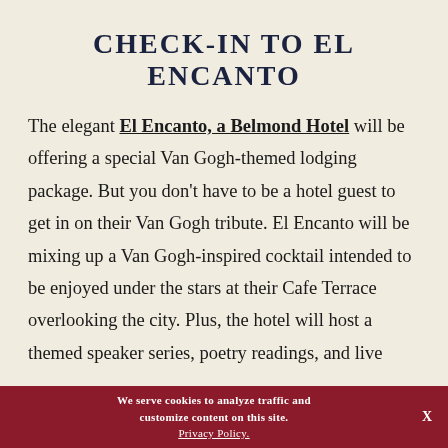CHECK-IN TO EL ENCANTO
The elegant El Encanto, a Belmond Hotel will be offering a special Van Gogh-themed lodging package. But you don't have to be a hotel guest to get in on their Van Gogh tribute. El Encanto will be mixing up a Van Gogh-inspired cocktail intended to be enjoyed under the stars at their Cafe Terrace overlooking the city. Plus, the hotel will host a themed speaker series, poetry readings, and live
We serve cookies to analyze traffic and customize content on this site. Privacy Policy. X